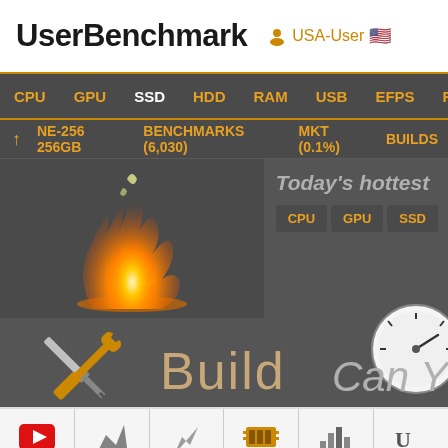UserBenchmark — USA-User
CPU | GPU | SSD | HDD | RAM | USB | EFPS | FPS | Sk
NE-256 256GB  BENCHMARKS (6,030)  MKT (0.1%)  BUILDS
Today's hottest
CPU  GPU  SSD
[Figure (illustration): Fire/flame illustration for hottest items]
[Figure (illustration): Tools (screwdriver and wrench) crossed icon with Build text label]
[Figure (illustration): Speedometer/gauge icon]
Can Y
[Figure (illustration): Bottom strip with YouTube icon and various benchmark category icons]